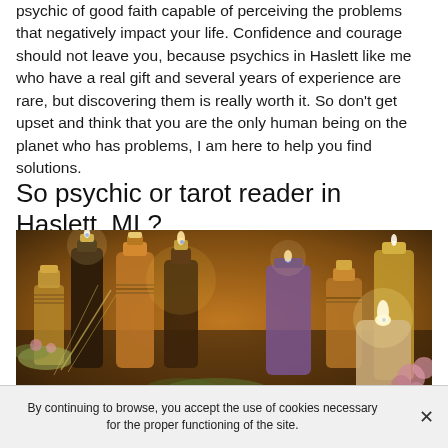psychic of good faith capable of perceiving the problems that negatively impact your life. Confidence and courage should not leave you, because psychics in Haslett like me who have a real gift and several years of experience are rare, but discovering them is really worth it. So don't get upset and think that you are the only human being on the planet who has problems, I am here to help you find solutions.
So psychic or tarot reader in Haslett, MI ?
[Figure (photo): Photo of glass bottles with cork stoppers containing herbs/oils and lit candles on a dark surface, surrounded by dried flowers and plants, with warm amber and purple tones suggesting a mystical or occult setting.]
By continuing to browse, you accept the use of cookies necessary for the proper functioning of the site.